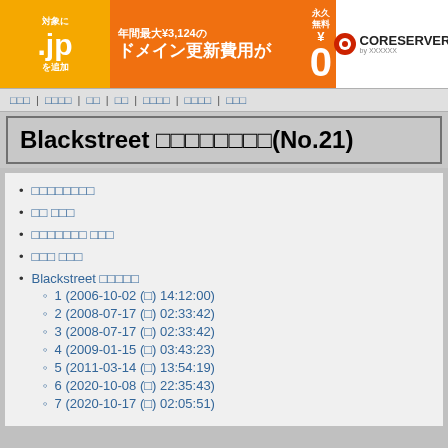[Figure (infographic): CORESERVER advertisement banner: .jp domain renewal fee campaign, up to ¥3,124 per year free forever (¥0). Orange background with white text and CORESERVER logo on white background.]
□□□ | □□□□ | □□ | □□ | □□□□ | □□□□ | □□□
Blackstreet □□□□□□□□(No.21)
□□□□□□□□
□□ □□□
□□□□□□□ □□□
□□□ □□□
Blackstreet □□□□□
1 (2006-10-02 (□) 14:12:00)
2 (2008-07-17 (□) 02:33:42)
3 (2008-07-17 (□) 02:33:42)
4 (2009-01-15 (□) 03:43:23)
5 (2011-03-14 (□) 13:54:19)
6 (2020-10-08 (□) 22:35:43)
7 (2020-10-17 (□) 02:05:51)